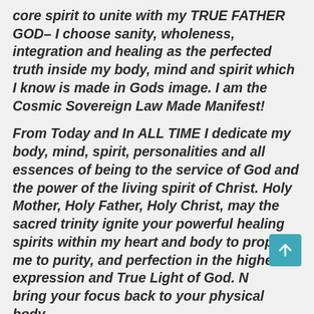core spirit to unite with my TRUE FATHER GOD– I choose sanity, wholeness, integration and healing as the perfected truth inside my body, mind and spirit which I know is made in Gods image. I am the Cosmic Sovereign Law Made Manifest!
From Today and In ALL TIME I dedicate my body, mind, spirit, personalities and all essences of being to the service of God and the power of the living spirit of Christ. Holy Mother, Holy Father, Holy Christ, may the sacred trinity ignite your powerful healing spirits within my heart and body to propel me to purity, and perfection in the highest expression and True Light of God. Now bring your focus back to your physical body, your consciousness returning back from the root areas and moving upward to expand back into the full witness presence of your heart complex,